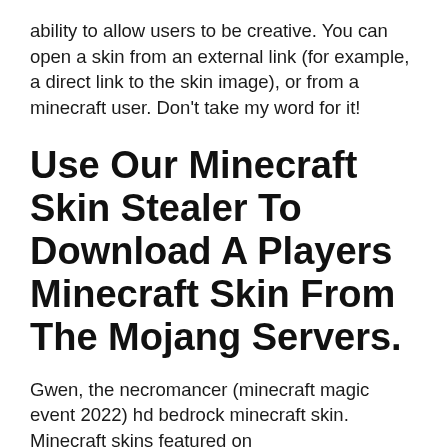ability to allow users to be creative. You can open a skin from an external link (for example, a direct link to the skin image), or from a minecraft user. Don't take my word for it!
Use Our Minecraft Skin Stealer To Download A Players Minecraft Skin From The Mojang Servers.
Gwen, the necromancer (minecraft magic event 2022) hd bedrock minecraft skin. Minecraft skins featured on www.gamergeeks.net are not the property of www.gamergeeks.net and are the result of